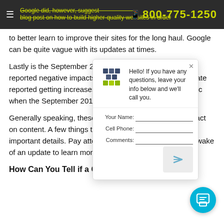Google did, however, suggest • 800-775-1250
blog post on how to build higher-quality websites in order
to better learn to improve their sites for the long haul. Google can be quite vague with its updates at times.
Lastly is the September 2019 Core Update. Those that reported negative impacts from the June 2019 Core Update reported getting increases in both their rankings and traffic when the September 2019 Update was released.
[Figure (screenshot): Chat popup widget with company logo, greeting message 'Hello! If you have any questions, leave your info below and we’ll call you.' and a form with Your Name, Cell Phone, Comments fields and a send button.]
Generally speaking, these updates have the biggest impact on content. A few things to keep in mind is to focus on important details. Pay attention to industry reports in the wake of an update to learn more about its general impact.
How Can You Tell if a Google Core Update Had a